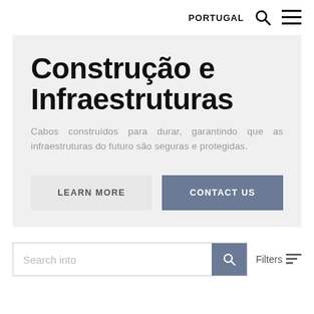PORTUGAL
Construção e Infraestruturas
Cabos construídos para durar, garantindo que as infraestruturas do futuro são seguras e protegidas.
LEARN MORE
CONTACT US
Search into
Filters